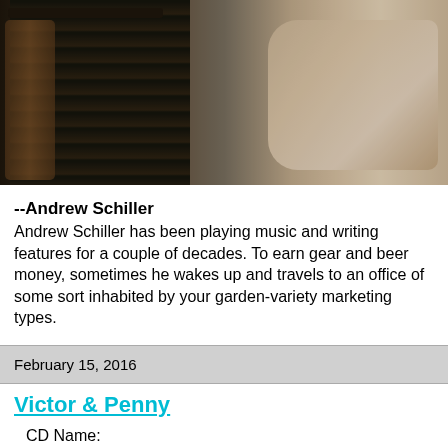[Figure (photo): Close-up photo of hands playing a guitar/ukulele instrument, showing the fretboard and strings on the left, and a hand strumming on the right]
--Andrew Schiller
Andrew Schiller has been playing music and writing features for a couple of decades. To earn gear and beer money, sometimes he wakes up and travels to an office of some sort inhabited by your garden-variety marketing types.
February 15, 2016
Victor & Penny
CD Name:
Side By Side
Music Link: